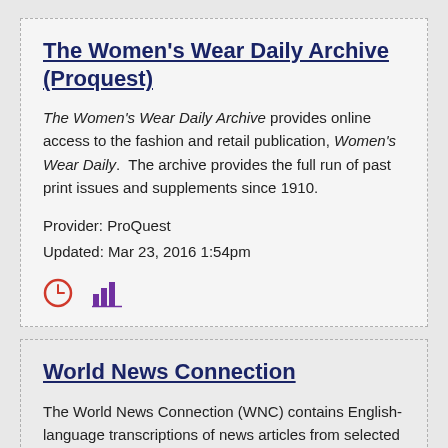The Women's Wear Daily Archive (Proquest)
The Women's Wear Daily Archive provides online access to the fashion and retail publication, Women's Wear Daily.  The archive provides the full run of past print issues and supplements since 1910.
Provider: ProQuest
Updated: Mar 23, 2016 1:54pm
[Figure (infographic): Two icons: a clock icon (red/orange circle with clock hands) and a bar chart icon (purple vertical bars)]
World News Connection
The World News Connection (WNC) contains English-language transcriptions of news articles from selected non-U.S. sources, generated by the U.S. Open Source Center. WNC began distribution in 1995 as a successor product to the Foreign...